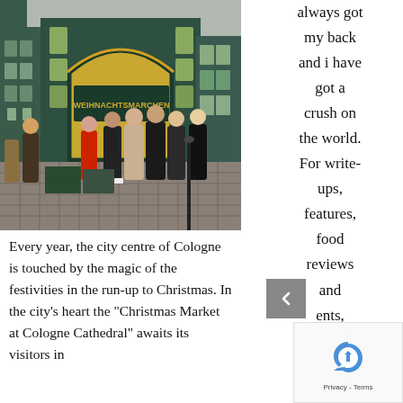[Figure (photo): Photo of the Christmas Market at Cologne Cathedral entrance. People in winter clothing stand in front of an ornate teal and gold fairytale-style market entrance arch. Cobblestone ground visible.]
always got my back and i have got a crush on the world. For write-ups, features, food reviews and ents,
Every year, the city centre of Cologne is touched by the magic of the festivities in the run-up to Christmas. In the city's heart the "Christmas Market at Cologne Cathedral" awaits its visitors in